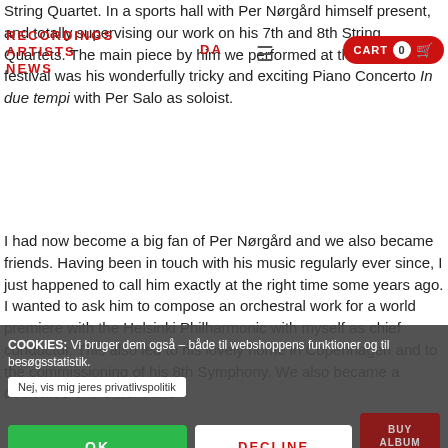RECORDINGS  ARTISTS  DA  ≡  CART 0  NEWS
String Quartet. In a sports hall with Per Nørgård himself present, and totally supervising our work on his 7th and 8th String Quartets. The main piece by him we performed at the same festival was his wonderfully tricky and exciting Piano Concerto In due tempi with Per Salo as soloist.
I had now become a big fan of Per Nørgård and we also became friends. Having been in touch with his music regularly ever since, I just happened to call him exactly at the right time some years ago. I wanted to ask him to compose an orchestral work for a world premiere with the Helsinki Philharmonic with myself as chief conductor. This also led to his lovely home in Copenhagen and to the commissioning of his 8th Symphony. We also became a dedicatee of the work and
COOKIES: Vi bruger dem også – både til webshoppens funktioner og til besøgsstatistik.
Nej, vis mig jeres privatlivspolitik
OK
DECLINE
BUY ALBUM